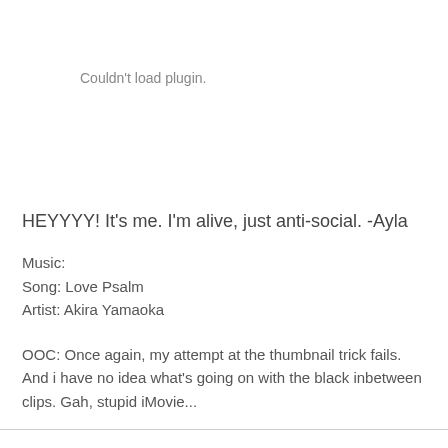Couldn't load plugin.
HEYYYY! It's me. I'm alive, just anti-social. -Ayla
Music:
Song: Love Psalm
Artist: Akira Yamaoka
OOC: Once again, my attempt at the thumbnail trick fails. And i have no idea what's going on with the black inbetween clips. Gah, stupid iMovie...